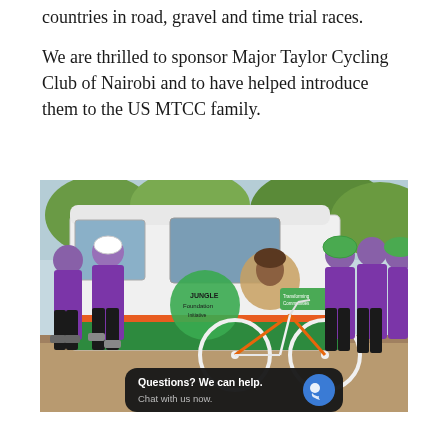countries in road, gravel and time trial races.
We are thrilled to sponsor Major Taylor Cycling Club of Nairobi and to have helped introduce them to the US MTCC family.
[Figure (photo): Group photo of female cyclists in purple jerseys standing in front of a white van with Jungle Foundation Initiative branding. A white and orange racing bicycle is leaning against the van. The setting appears to be a dirt road with trees in the background.]